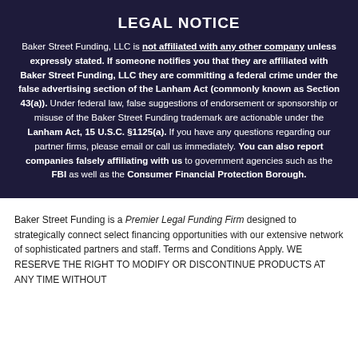LEGAL NOTICE
Baker Street Funding, LLC is not affiliated with any other company unless expressly stated. If someone notifies you that they are affiliated with Baker Street Funding, LLC they are committing a federal crime under the false advertising section of the Lanham Act (commonly known as Section 43(a)). Under federal law, false suggestions of endorsement or sponsorship or misuse of the Baker Street Funding trademark are actionable under the Lanham Act, 15 U.S.C. §1125(a). If you have any questions regarding our partner firms, please email or call us immediately. You can also report companies falsely affiliating with us to government agencies such as the FBI as well as the Consumer Financial Protection Borough.
Baker Street Funding is a Premier Legal Funding Firm designed to strategically connect select financing opportunities with our extensive network of sophisticated partners and staff. Terms and Conditions Apply. WE RESERVE THE RIGHT TO MODIFY OR DISCONTINUE PRODUCTS AT ANY TIME WITHOUT